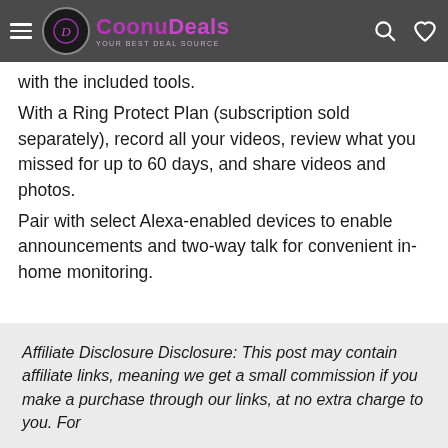CoonuDeals - YOUR BEST DEAL SOURCE
with the included tools.
With a Ring Protect Plan (subscription sold separately), record all your videos, review what you missed for up to 60 days, and share videos and photos.
Pair with select Alexa-enabled devices to enable announcements and two-way talk for convenient in-home monitoring.
Affiliate Disclosure Disclosure: This post may contain affiliate links, meaning we get a small commission if you make a purchase through our links, at no extra charge to you. For